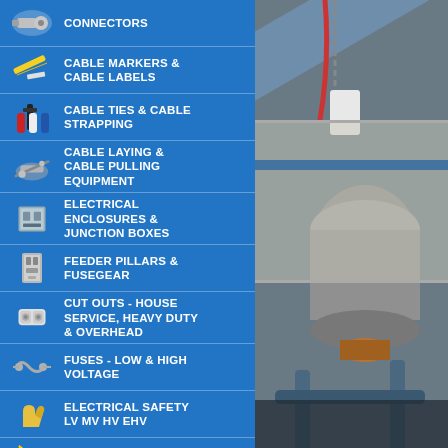CONNECTORS
CABLE MARKERS & CABLE LABELS
CABLE TIES & CABLE STRAPPING
CABLE LAYING & CABLE PULLING EQUIPMENT
ELECTRICAL ENCLOSURES & JUNCTION BOXES
FEEDER PILLARS & FUSEGEAR
CUT OUTS - HOUSE SERVICE, HEAVY DUTY & OVERHEAD
FUSES - LOW & HIGH VOLTAGE
ELECTRICAL SAFETY LV MV HV EHV
ARC FLASH
[Figure (photo): Industrial electrical equipment photo showing cables, hoist chain, large capacitor or transformer component mounted on support structure in industrial facility]